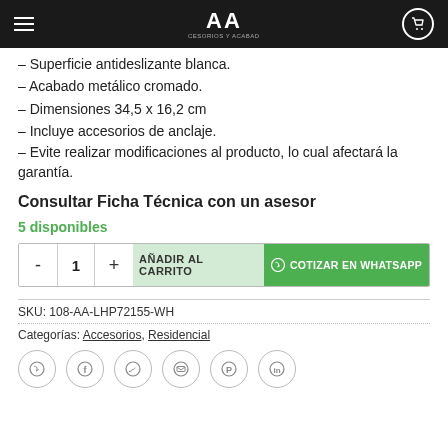AA ACCESORIOS Y ACABADOS
– Superficie antideslizante blanca.
– Acabado metálico cromado.
– Dimensiones 34,5 x 16,2 cm
– Incluye accesorios de anclaje.
– Evite realizar modificaciones al producto, lo cual afectará la garantía.
Consultar Ficha Técnica con un asesor
5 disponibles
- 1 + AÑADIR AL CARRITO  ⊙ COTIZAR EN WHATSAPP
SKU: 108-AA-LHP72155-WH
Categorías: Accesorios, Residencial